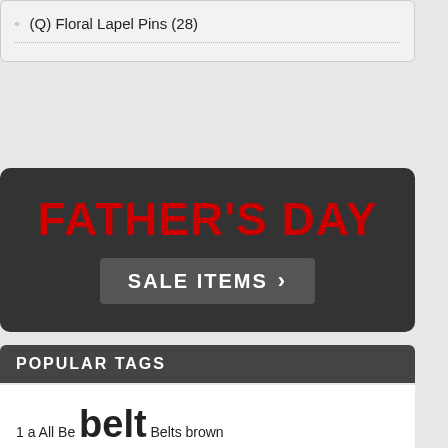(Q) Floral Lapel Pins (28)
[Figure (infographic): Father's Day Sale Items promotional banner with dark background, red bold text 'FATHER'S DAY' and grey button 'SALE ITEMS' with arrow]
POPULAR TAGS
1 a All Be belt Belts brown carbon Carbon Fiber crystal cu cufflink Cufflinks Gant gift